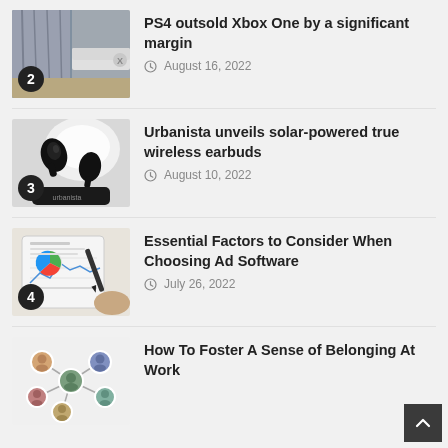[Figure (photo): Photo of Xbox One console on a table]
PS4 outsold Xbox One by a significant margin
August 16, 2022
[Figure (photo): Photo of Urbanista wireless earbuds with charging case]
Urbanista unveils solar-powered true wireless earbuds
August 10, 2022
[Figure (photo): Photo of hand pointing at tablet with charts and graphs]
Essential Factors to Consider When Choosing Ad Software
July 26, 2022
[Figure (photo): Illustration of network graph with people profile photos]
How To Foster A Sense of Belonging At Work